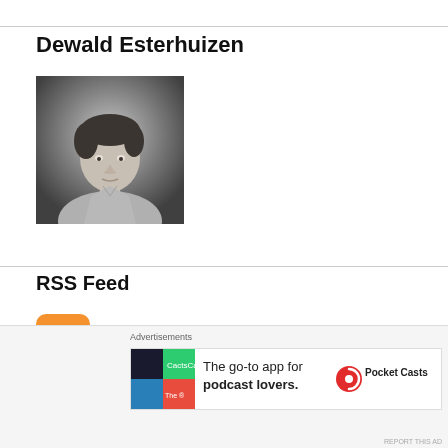Dewald Esterhuizen
[Figure (photo): Black and white portrait photo of Dewald Esterhuizen, a young man wearing a light t-shirt]
RSS Feed
[Figure (logo): Orange RSS feed icon with white wifi-style signal symbol]
[Figure (other): Close/dismiss button (circle with X)]
Advertisements
[Figure (other): Pocket Casts advertisement: The go-to app for podcast lovers.]